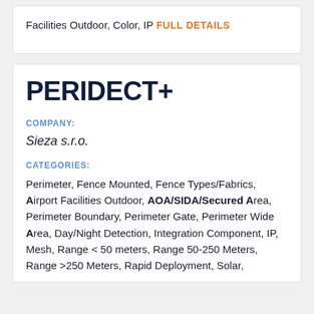Facilities Outdoor, Color, IP
FULL DETAILS
PERIDECT+
COMPANY:
Sieza s.r.o.
CATEGORIES:
Perimeter, Fence Mounted, Fence Types/Fabrics, Airport Facilities Outdoor, AOA/SIDA/Secured Area, Perimeter Boundary, Perimeter Gate, Perimeter Wide Area, Day/Night Detection, Integration Component, IP, Mesh, Range < 50 meters, Range 50-250 Meters, Range >250 Meters, Rapid Deployment, Solar,